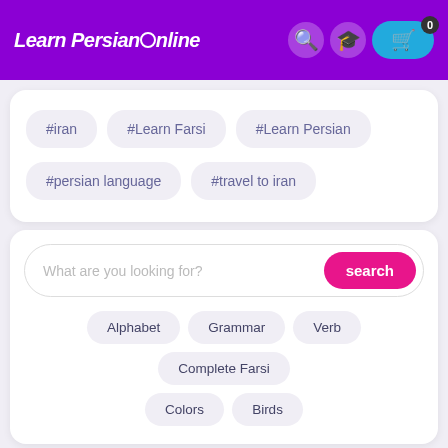Learn Persian Online
#iran
#Learn Farsi
#Learn Persian
#persian language
#travel to iran
What are you looking for?
Alphabet
Grammar
Verb
Complete Farsi
Colors
Birds